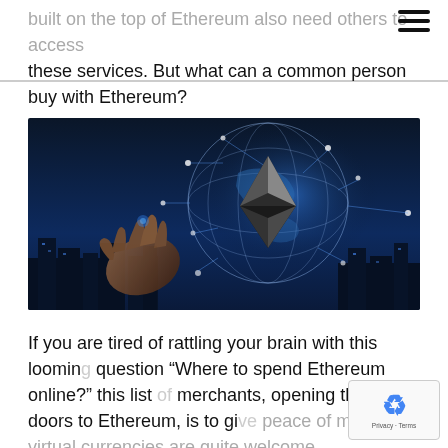built on the top of Ethereum also need others to access these services. But what can a common person buy with Ethereum?
[Figure (photo): A hand pointing toward a glowing digital globe with network connections and the Ethereum diamond logo, set against a blue city skyline background.]
If you are tired of rattling your brain with this looming question “Where to spend Ethereum online?” this list of merchants, opening their doors to Ethereum, is to give you peace of mind that virtual currencies are quite welcome